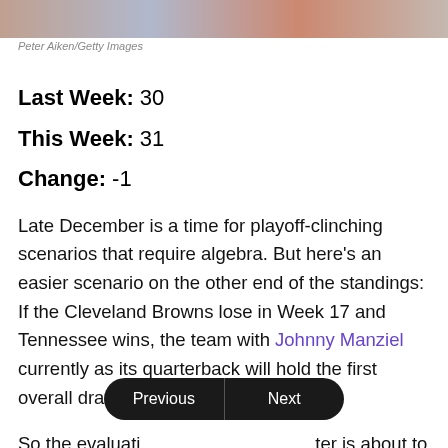[Figure (photo): Blurred photo strip at top of page, sports/action image]
Peter Aiken/Getty Images
Last Week: 30
This Week: 31
Change: -1
Late December is a time for playoff-clinching scenarios that require algebra. But here's an easier scenario on the other end of the standings: If the Cleveland Browns lose in Week 17 and Tennessee wins, the team with Johnny Manziel currently as its quarterback will hold the first overall draft pick in 2016.
So the evaluation of the quarterback is about to reach another gear. Sunday we saw the expected athletic flair...